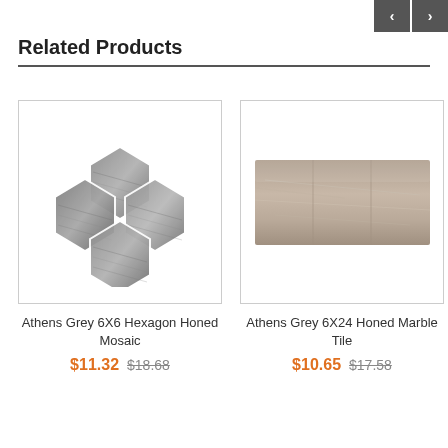Related Products
[Figure (photo): Athens Grey 6X6 Hexagon Honed Mosaic tile product image showing grey hexagon stone tiles arranged in a mosaic pattern]
Athens Grey 6X6 Hexagon Honed Mosaic
$11.32  $18.68
[Figure (photo): Athens Grey 6X24 Honed Marble Tile product image showing a rectangular grey-brown marble tile]
Athens Grey 6X24 Honed Marble Tile
$10.65  $17.58